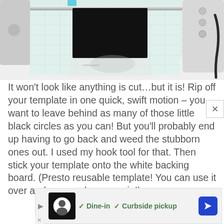[Figure (photo): Overhead/top-down view of a Cricut cutting machine with a black vinyl material on a cutting mat, showing the machine's rail, right control panel with buttons, and a power cord. A semi-transparent smudge/blur is visible on the mat below the material. The bottom shows a white table surface.]
It won't look like anything is cut...but it is!  Rip off your template in one quick, swift motion – you want to leave behind as many of those little black circles as you can!  But you'll probably end up having to go back and weed the stubborn ones out.  I used my hook tool for that.  Then stick your template onto the white backing board.  (Presto reusable template!  You can use it over and over and over again!)